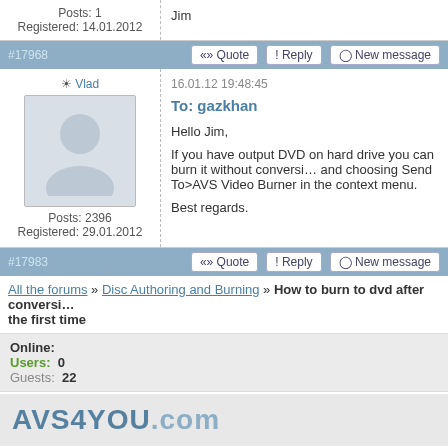Posts: 1
Registered: 14.01.2012
Jim
#17968
«» Quote  !  Reply  New message
Vlad
Posts: 2396
Registered: 29.01.2012
16.01.12 19:48:45
To: gazkhan
Hello Jim,

If you have output DVD on hard drive you can burn it without conversion by right-clicking and choosing Send To>AVS Video Burner in the context menu.

Best regards.
#17983
«» Quote  !  Reply  New message
All the forums » Disc Authoring and Burning » How to burn to dvd after conversion for the first time
Online:
Users: 0
Guests: 22
AVS4YOU.com